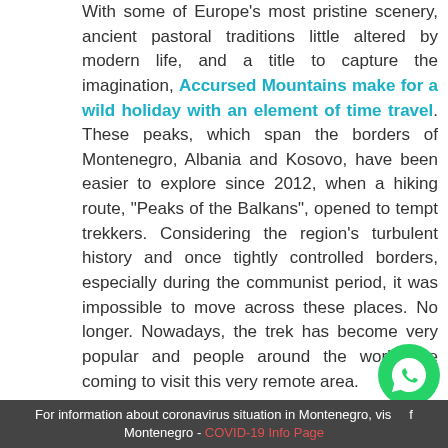With some of Europe's most pristine scenery, ancient pastoral traditions little altered by modern life, and a title to capture the imagination, Accursed Mountains make for a wild holiday with an element of time travel. These peaks, which span the borders of Montenegro, Albania and Kosovo, have been easier to explore since 2012, when a hiking route, “Peaks of the Balkans”, opened to tempt trekkers. Considering the region’s turbulent history and once tightly controlled borders, especially during the communist period, it was impossible to move across these places. No longer. Nowadays, the trek has become very popular and people around the world are coming to visit this very remote area.
The “Peaks of the Balkans” trail is an epic walk along shepherd paths and footpaths winding through alpine scenery up to 2300 m above
For information about coronavirus situation in Montenegro, visit of Montenegro - COVID-19 Info Page